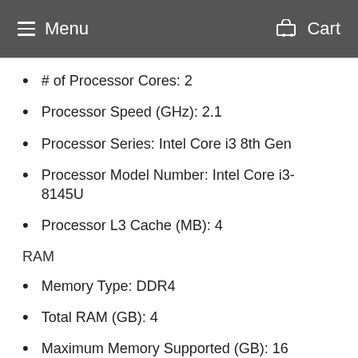Menu   Cart
# of Processor Cores: 2
Processor Speed (GHz): 2.1
Processor Series: Intel Core i3 8th Gen
Processor Model Number: Intel Core i3-8145U
Processor L3 Cache (MB): 4
RAM
Memory Type: DDR4
Total RAM (GB): 4
Maximum Memory Supported (GB): 16
Total Memory Slots Available: 1
Graphics